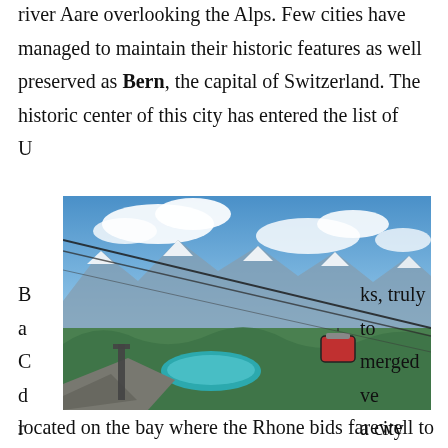river Aare overlooking the Alps. Few cities have managed to maintain their historic features as well preserved as Bern, the capital of Switzerland. The historic center of this city has entered the list of U[…] B[…] ks, truly a[…] to C[…] merged c[…] ve r[…] a city located on the bay where the Rhone bids farewell to Lake Geneva.
[Figure (photo): Aerial photo taken from a cable car gondola showing Swiss Alps mountain landscape with a turquoise lake in the valley below, snowcapped peaks, and cable car wires visible against a blue sky with white clouds.]
Overnight in Geneva.
Day 5  Geneva - Montreux - Zermatt
Located in the far east of Switzerland, Geneva city has a lot to offer. Discover the European headquarters of the UN and also explore the Grand...